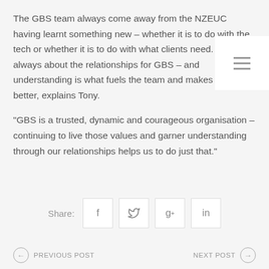The GBS team always come away from the NZEUC having learnt something new – whether it is to do with the tech or whether it is to do with what clients need. It’s always about the relationships for GBS – and understanding is what fuels the team and makes them better, explains Tony.
“GBS is a trusted, dynamic and courageous organisation – continuing to live those values and garner understanding through our relationships helps us to do just that.”
Share: [facebook] [twitter] [google+] [linkedin]
← PREVIOUS POST    NEXT POST →